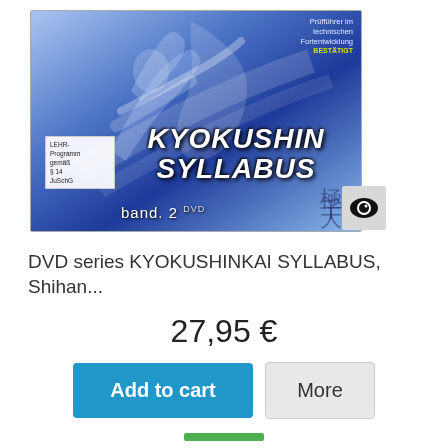[Figure (photo): DVD cover for Kyokushin Syllabus Band 2, showing karate fighters in blue tones with Japanese kanji and LEHR-Programm gemäß §14 JuSchG label]
DVD series KYOKUSHINKAI SYLLABUS, Shihan...
27,95 €
Add to cart
More